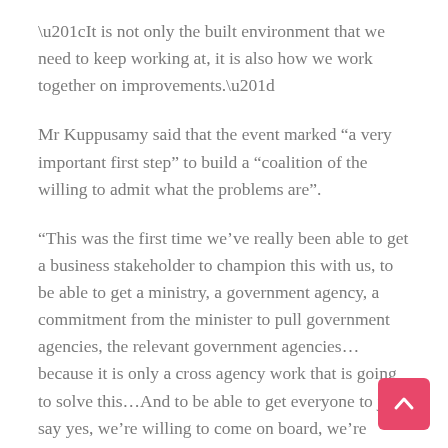“It is not only the built environment that we need to keep working at, it is also how we work together on improvements.”
Mr Kuppusamy said that the event marked “a very important first step” to build a “coalition of the willing to admit what the problems are”.
“This was the first time we’ve really been able to get a business stakeholder to champion this with us, to be able to get a ministry, a government agency, a commitment from the minister to pull government agencies, the relevant government agencies… because it is only a cross agency work that is going to solve this…And to be able to get everyone to just say yes, we’re willing to come on board, we’re willing to learn and listen is huge.”
Mr Dizon Somera, head of information office of BNB...